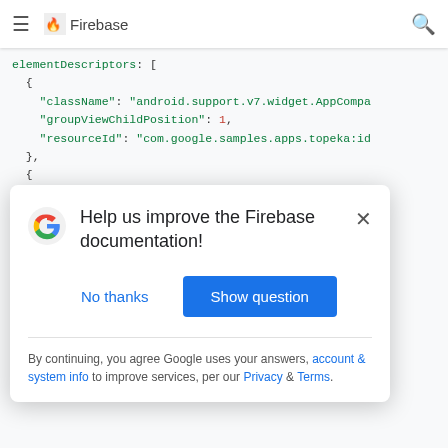Firebase
elementDescriptors: [
  {
    "className": "android.support.v7.widget.AppCompat..."
    "groupViewChildPosition": 1,
    "resourceId": "com.google.samples.apps.topeka:id..."
  },
  {
    "className": "android.widget.FrameLayout",
    "recyclerViewChildPosition": 8,
    "resourceId": "com.google.samples.apps.topeka:id..."
  },
[Figure (screenshot): A dialog box with Google logo asking 'Help us improve the Firebase documentation!' with 'No thanks' and 'Show question' buttons, and a footer with legal text about account & system info, Privacy, and Terms.]